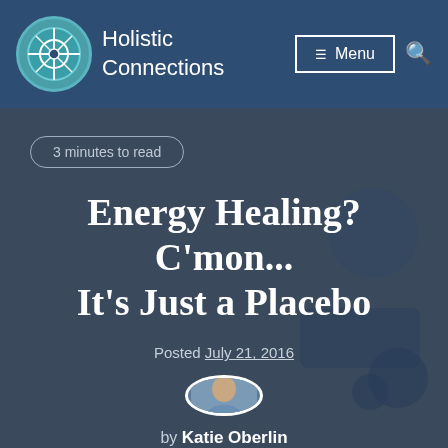Holistic Connections
3 minutes to read
Energy Healing? C'mon... It's Just a Placebo
Posted July 21, 2016
[Figure (photo): Circular author photo of Katie Oberlin]
by Katie Oberlin